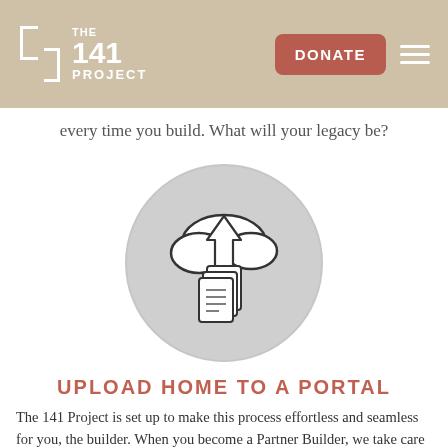THE 141 PROJECT | DONATE
every time you build. What will your legacy be?
[Figure (illustration): A circular gray brushstroke icon containing a hand-drawn cloud upload illustration: a cloud with an upward arrow and documents beneath it, drawn in sketch/line-art style.]
UPLOAD HOME TO A PORTAL
The 141 Project is set up to make this process effortless and seamless for you, the builder. When you become a Partner Builder, we take care of the rest. Just upload